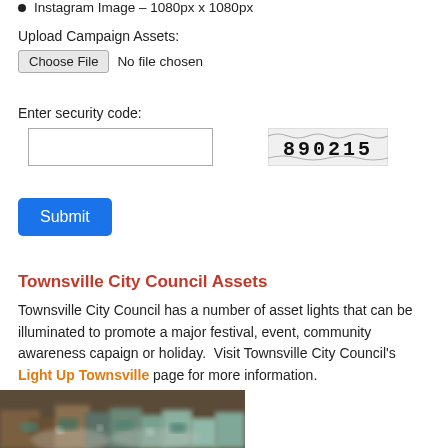Instagram Image – 1080px x 1080px
Upload Campaign Assets:
Choose File  No file chosen
Enter security code:
[Figure (screenshot): CAPTCHA image showing the code 890215 with wavy distortion lines on a light background]
Submit
Townsville City Council Assets
Townsville City Council has a number of asset lights that can be illuminated to promote a major festival, event, community awareness capaign or holiday.  Visit Townsville City Council's Light Up Townsville page for more information.
[Figure (photo): Blurred photo of an event or banquet hall with chairs and tables set with glassware, teal/green seat pads, photographed from ground level]